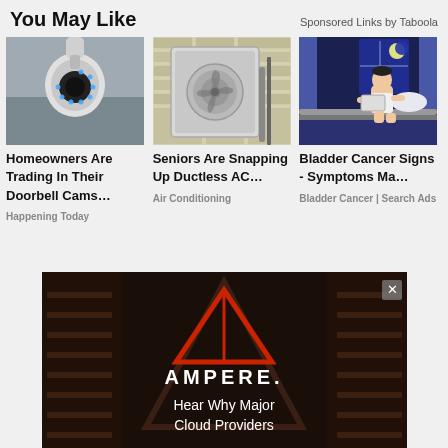You May Like
Sponsored Links by Taboola
[Figure (photo): Security camera (doorbell cam) close-up with blue LED lights]
Homeowners Are Trading In Their Doorbell Cams…
Happening Today
[Figure (photo): Ductless AC unit mounted on exterior brick wall]
Seniors Are Snapping Up Ductless AC…
Air Conditioning
[Figure (photo): Illustration of person sitting in bed at night reading]
Bladder Cancer Signs - Symptoms Ma…
Bladder Cancer | Search Ads
[Figure (photo): Ampere advertisement with red triangle logo, dark background, text: Hear Why Major Cloud Providers...]
AMPERE.
Hear Why Major Cloud Providers